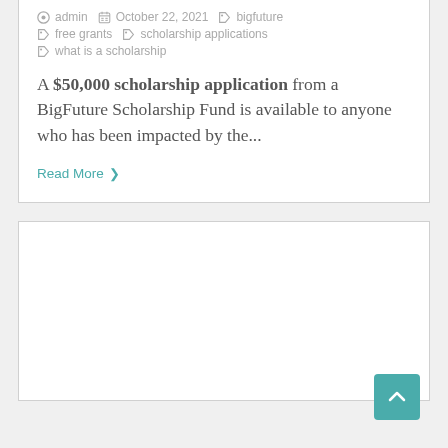admin  October 22, 2021  bigfuture  free grants  scholarship applications  what is a scholarship
A $50,000 scholarship application from a BigFuture Scholarship Fund is available to anyone who has been impacted by the...
Read More